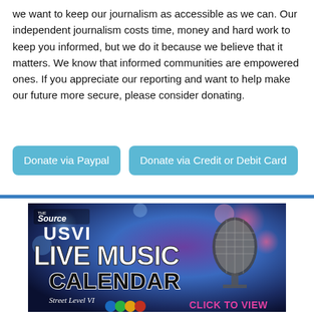we want to keep our journalism as accessible as we can. Our independent journalism costs time, money and hard work to keep you informed, but we do it because we believe that it matters. We know that informed communities are empowered ones. If you appreciate our reporting and want to help make our future more secure, please consider donating.
[Figure (other): Two donation buttons: 'Donate via Paypal' and 'Donate via Credit or Debit Card', styled as light blue rounded rectangles]
[Figure (advertisement): USVI Live Music Calendar advertisement by The Source / Street Level VI. Shows a microphone against a purple/blue bokeh background with large white bold text 'USVI LIVE MUSIC CALENDAR' and 'CLICK TO VIEW' in pink. Street Level VI logo and colorful dancer icons at bottom.]